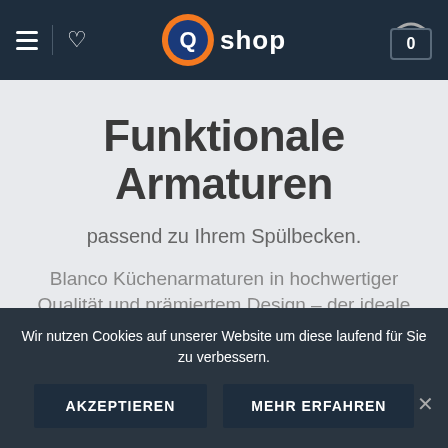[Figure (logo): Q shop logo with orange circle containing blue Q letter, followed by the text 'shop']
Funktionale Armaturen
passend zu Ihrem Spülbecken.
Blanco Küchenarmaturen in hochwertiger Qualität und prämiertem Design – der ideale
Wir nutzen Cookies auf unserer Website um diese laufend für Sie zu verbessern.
AKZEPTIEREN
MEHR ERFAHREN